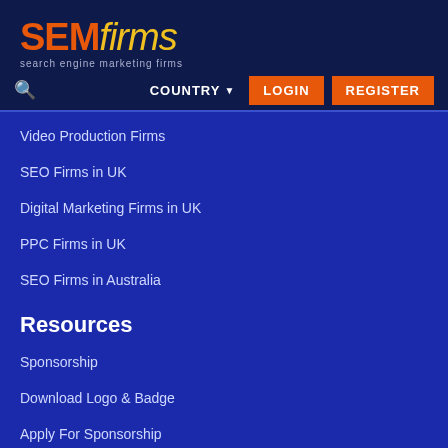[Figure (logo): SEMfirms logo — 'SEM' in orange bold, 'firms' in yellow italic, tagline 'search engine marketing firms' in light grey below]
COUNTRY ▼  LOGIN  REGISTER
Video Production Firms
SEO Firms in UK
Digital Marketing Firms in UK
PPC Firms in UK
SEO Firms in Australia
Resources
Sponsorship
Download Logo & Badge
Apply For Sponsorship
Evaluation Criteria